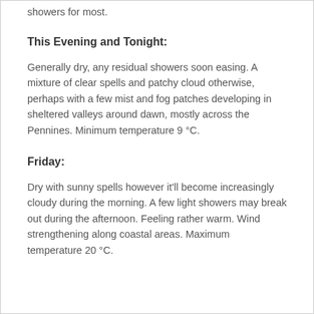showers for most.
This Evening and Tonight:
Generally dry, any residual showers soon easing. A mixture of clear spells and patchy cloud otherwise, perhaps with a few mist and fog patches developing in sheltered valleys around dawn, mostly across the Pennines. Minimum temperature 9 °C.
Friday:
Dry with sunny spells however it'll become increasingly cloudy during the morning. A few light showers may break out during the afternoon. Feeling rather warm. Wind strengthening along coastal areas. Maximum temperature 20 °C.